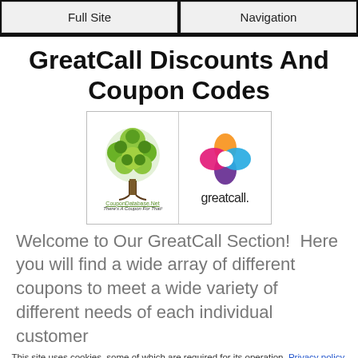Full Site | Navigation
GreatCall Discounts And Coupon Codes
[Figure (logo): Combined logo: CouponDatabase.Net tree logo on left, GreatCall colorful petal logo with 'greatcall.' wordmark on right]
Welcome to Our GreatCall Section!  Here you will find a wide array of different coupons to meet a wide variety of different needs of each individual customer
This site uses cookies, some of which are required for its operation. Privacy policy.
Agree and Continue